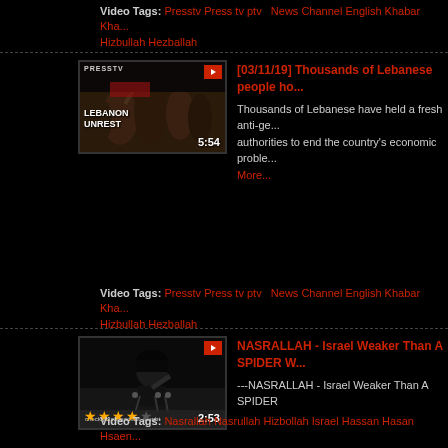Video Tags: Presstv Press tv ptv  News Channel English Khabar Kha... Hizbullah Hezballah
[Figure (screenshot): Thumbnail of Lebanon Unrest video showing protesters, duration 5:54, PressTV logo]
[03/11/19] Thousands of Lebanese people ho...
Thousands of Lebanese have held a fresh anti-ge... authorities to end the country's economic proble... More...
Video Tags: Presstv Press tv ptv  News Channel English Khabar Kha... Hizbullah Hezballah
[Figure (screenshot): Thumbnail of NASRALLAH - Israel Weaker Than A SPIDER video, duration 2:53, star rating shown]
NASRALLAH - Israel Weaker Than A SPIDER W...
---NASRALLAH - Israel Weaker Than A SPIDER
Video Tags: Nasrallah Nasrullah Hizbollah Israel Hassan Hasan Hsaen... Zionists Zionist Zionism State...